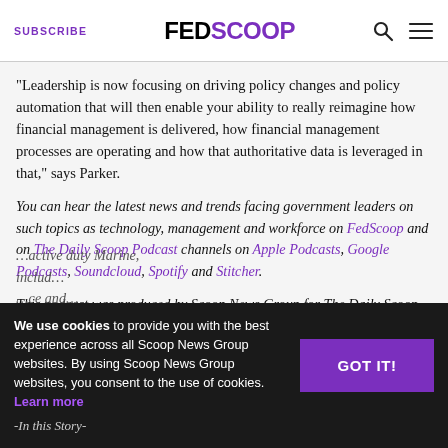SUBSCRIBE | FEDSCOOP
“Leadership is now focusing on driving policy changes and policy automation that will then enable your ability to really reimagine how financial management is delivered, how financial management processes are operating and how that authoritative data is leveraged in that,” says Parker.
You can hear the latest news and trends facing government leaders on such topics as technology, management and workforce on FedScoop and on The Daily Scoop Podcast channels on Apple Podcasts, Google Podcasts, Soundcloud, Spotify and Stitcher.
This podcast was produced by Scoop News Group for The Daily Scoop Podcast and underwritten by Salesforce.
We use cookies to provide you with the best experience across all Scoop News Group websites. By using Scoop News Group websites, you consent to the use of cookies. Learn more
-In this Story-